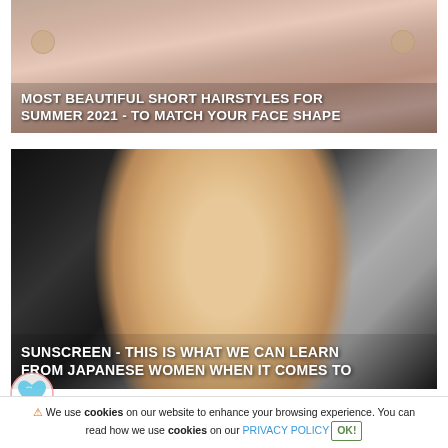[Figure (photo): Close-up photo of a person's lower face with earrings, overlaid text about short hairstyles for summer 2021]
MOST BEAUTIFUL SHORT HAIRSTYLES FOR SUMMER 2021 - TO MATCH YOUR FACE SHAPE
[Figure (photo): Close-up portrait photo of an Asian woman with dark hair pulled back, against a dark background, overlaid text about sunscreen]
SUNSCREEN - THIS IS WHAT WE CAN LEARN FROM JAPANESE WOMEN WHEN IT COMES TO
[Figure (photo): Partial view of a third image card at the bottom of the page]
⚠ We use cookies on our website to enhance your browsing experience. You can read how we use cookies on our PRIVACY POLICY OK!